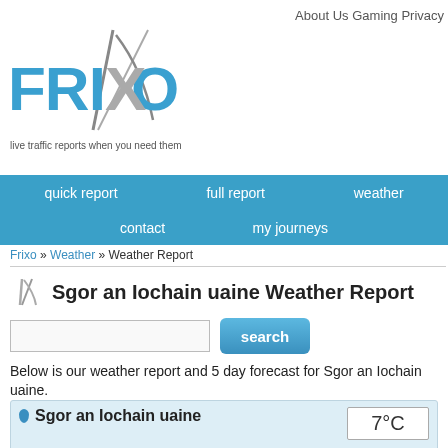About Us  Gaming  Privacy
[Figure (logo): FRIXO logo with road/highway graphic]
live traffic reports when you need them
quick report  full report  weather  contact  my journeys
Frixo » Weather » Weather Report
Sgor an Iochain uaine Weather Report
search
Below is our weather report and 5 day forecast for Sgor an Iochain uaine.
Sgor an Iochain uaine  7°C  Temperature  7°C  (feels like 5°C)  Weather  Sunny  Chances of Rain 0%